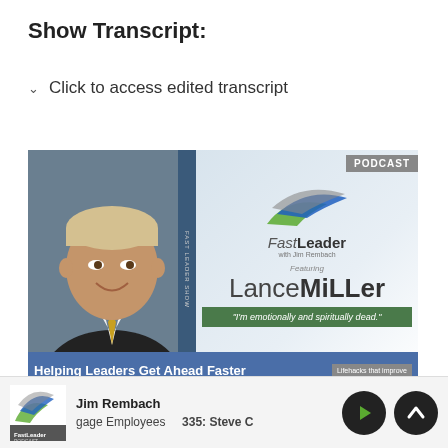Show Transcript:
Click to access edited transcript
[Figure (photo): Podcast cover image for Fast Leader Podcast featuring Lance Miller. Left side shows a professional headshot of a middle-aged man in a dark suit with a yellow tie, smiling. Right side shows the Fast Leader Podcast logo with swoosh graphic, text 'FastLeader with Jim Rembach', 'Featuring', 'LanceMiller', and quote 'I'm emotionally and spiritually dead.' Bottom bar reads 'Helping Leaders Get Ahead Faster' and 'Lifehacks that improve'. Top right has PODCAST badge.]
Jim Rembach | gage Employees | 335: Steve C